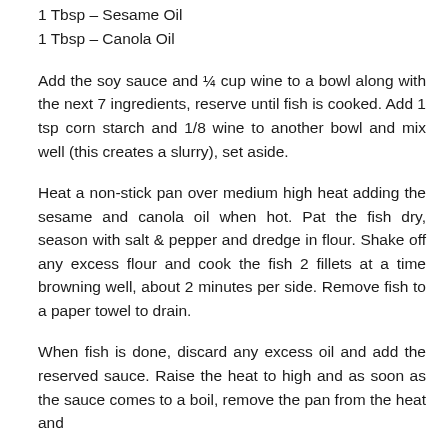1 Tbsp – Sesame Oil
1 Tbsp – Canola Oil
Add the soy sauce and ¼ cup wine to a bowl along with the next 7 ingredients, reserve until fish is cooked. Add 1 tsp corn starch and 1/8 wine to another bowl and mix well (this creates a slurry), set aside.
Heat a non-stick pan over medium high heat adding the sesame and canola oil when hot. Pat the fish dry, season with salt & pepper and dredge in flour. Shake off any excess flour and cook the fish 2 fillets at a time browning well, about 2 minutes per side. Remove fish to a paper towel to drain.
When fish is done, discard any excess oil and add the reserved sauce. Raise the heat to high and as soon as the sauce comes to a boil, remove the pan from the heat and